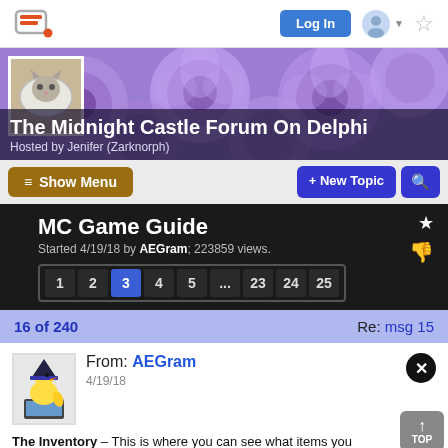Log In
[Figure (screenshot): Forum website header with logo, Log In button, avatar icon, and star/bookmark icon]
The Midnight Castle Forum On Delphi
Hosted by Jenifer (Zarknorph)
≡ Show Menu
+ New Topic
MC Game Guide
Started 4/19/18 by AEGram; 223859 views.
Page navigation: 1 2 3 4 5 ... 23 24 25
16 of 240
Re: msg 15
From: AEGram
4/19/18
The Inventory – This is where you can see what items you